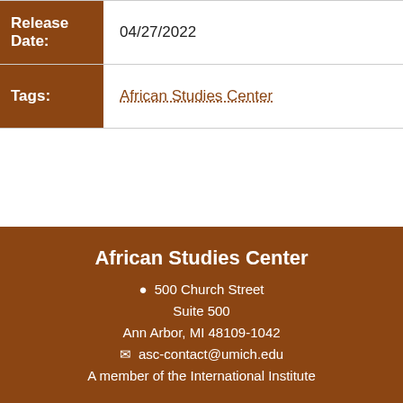| Label | Value |
| --- | --- |
| Release Date: | 04/27/2022 |
| Tags: | African Studies Center |
African Studies Center
500 Church Street
Suite 500
Ann Arbor, MI 48109-1042
asc-contact@umich.edu
A member of the International Institute